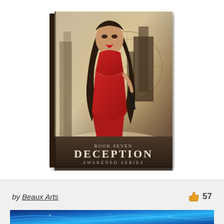[Figure (photo): Book cover of 'Deception' Book Seven of the Awakened Series, showing a woman in a red dress with long brown hair against a mystical background with runes and geometric patterns. Text on cover reads: BOOK SEVEN, DECEPTION, AWAKENED SERIES.]
by Beaux Arts
57
[Figure (photo): Bottom portion of another image showing blue ocean waves or cosmic blue scene, partially visible at bottom of page.]